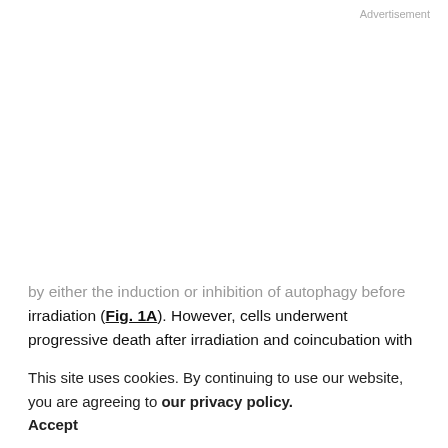Advertisement
by either the induction or inhibition of autophagy before irradiation (Fig. 1A). However, cells underwent progressive death after irradiation and coincubation with DCs. Induction of autophagy prior to irradiation hindered cell death, whereas inhibition of autophagy accelerated cell death (Supplementary Fig. S2). To ensure that these observations were not an artifact of the OVA model, we also examined cross-presentation of an endogenous
tumor antigen, gp100, expressed by the human melanoma cell line, FEMX, after inhibiting and inducing autophagy. By assessing proliferation of adoptively transferred gp100-specific pmel-1 transgenic T cells (10), we found that in
This site uses cookies. By continuing to use our website, you are agreeing to our privacy policy.
Accept